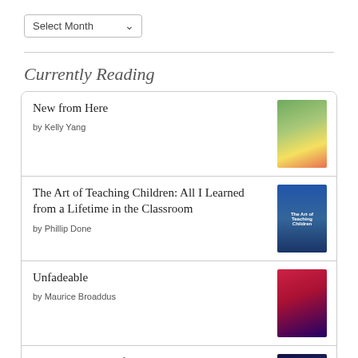Select Month
Currently Reading
New from Here
by Kelly Yang
The Art of Teaching Children: All I Learned from a Lifetime in the Classroom
by Phillip Done
Unfadeable
by Maurice Broaddus
I Sang You Down from the Stars